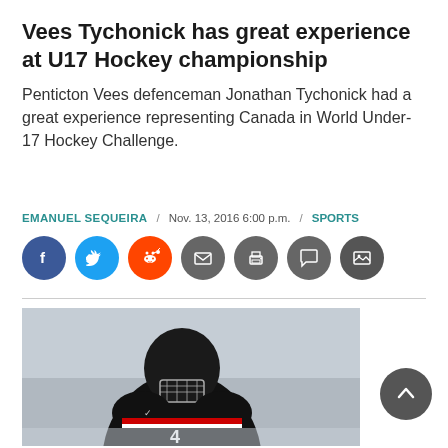Vees Tychonick has great experience at U17 Hockey championship
Penticton Vees defenceman Jonathan Tychonick had a great experience representing Canada in World Under-17 Hockey Challenge.
EMANUEL SEQUEIRA / Nov. 13, 2016 6:00 p.m. / SPORTS
[Figure (infographic): Social sharing icons: Facebook (blue), Twitter (blue), Reddit (orange), Email (grey), Print (grey), Comment (grey), Gallery (dark grey)]
[Figure (photo): Hockey player wearing a black helmet with cage and a black/white/red Team Canada jersey with number 4, skating on ice. Background is grey ice surface.]